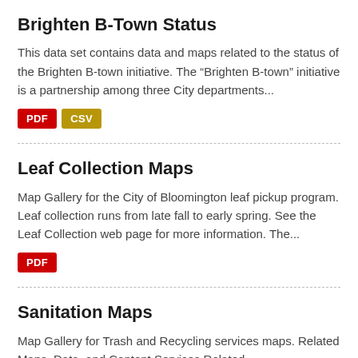Brighten B-Town Status
This data set contains data and maps related to the status of the Brighten B-town initiative. The “Brighten B-town” initiative is a partnership among three City departments...
PDF  CSV
Leaf Collection Maps
Map Gallery for the City of Bloomington leaf pickup program. Leaf collection runs from late fall to early spring. See the Leaf Collection web page for more information. The...
PDF
Sanitation Maps
Map Gallery for Trash and Recycling services maps. Related Maps, Data, and Content Services Related Maps Sanitation Related GIS Data Sanitation Maps...